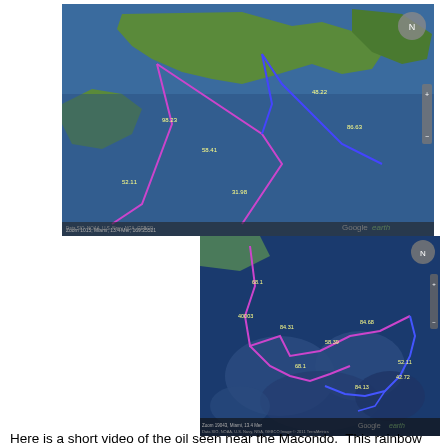[Figure (map): Google Earth satellite map showing navigation routes over the Gulf of Mexico and Caribbean region with purple and blue path lines marking survey routes, with distance labels.]
[Figure (map): Google Earth satellite map showing a zoomed-in underwater bathymetric view of the Gulf of Mexico near the Macondo well site, with purple and blue navigation track lines and distance labels. Google Earth watermark visible.]
Here is a short video of the oil seen near the Macondo.  This rainbow sheen was seen within a few miles of the site of the 2010 BP disaster; the slick was at least one nautical mile (2 km) long and on average about 400-500 meters wide. This video was taken from a small video camera looking through the belly of our plane, at between 800' and